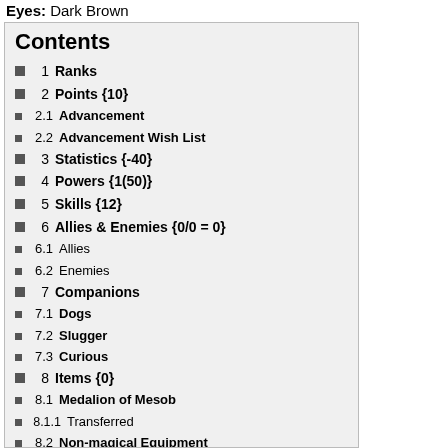Eyes: Dark Brown
Contents
1  Ranks
2  Points {10}
2.1  Advancement
2.2  Advancement Wish List
3  Statistics {-40}
4  Powers {1(50)}
5  Skills {12}
6  Allies & Enemies {0/0 = 0}
6.1  Allies
6.2  Enemies
7  Companions
7.1  Dogs
7.2  Slugger
7.3  Curious
8  Items {0}
8.1  Medalion of Mesob
8.1.1  Transferred
8.2  Non-magical Equipment
8.2.1  Weapons & Tools
8.2.2  Clothing & Accessories